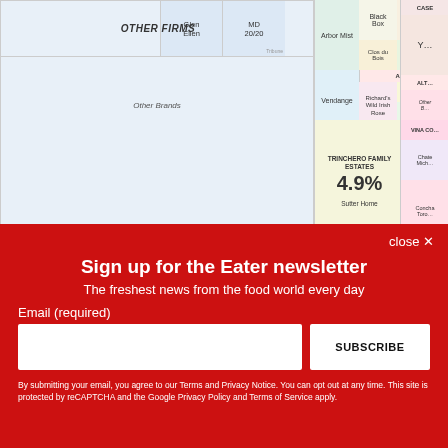[Figure (other): Treemap chart showing wine market share with companies including Other Firms, Trinchero Family Estates (4.9%), Arbor Mist, Black Box, Robert Mondavi, Cook's, Clos du Bois, Blackstone, Estancia Estates, Vendange, Richard's Wild Irish Rose, Havenswood, Paul Masson, J. Roger, Taylor, and others. Also shows VINA CO, Chateau Mich, Concha Toro, Glen Ellen, MD 20/20 labels.]
Sign up for the Eater newsletter
The freshest news from the food world every day
Email (required)
SUBSCRIBE
By submitting your email, you agree to our Terms and Privacy Notice. You can opt out at any time. This site is protected by reCAPTCHA and the Google Privacy Policy and Terms of Service apply.